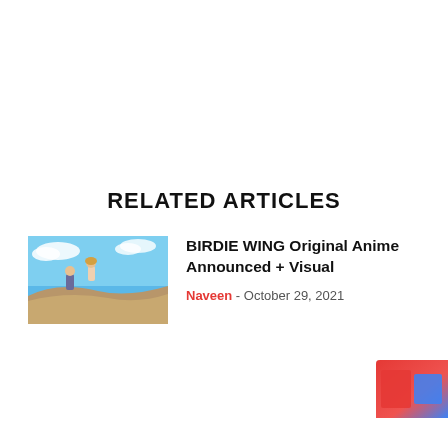RELATED ARTICLES
[Figure (illustration): Thumbnail image from BIRDIE WING anime showing two characters on a rocky cliff with blue sky background]
BIRDIE WING Original Anime Announced + Visual
Naveen - October 29, 2021
[Figure (illustration): Partially visible thumbnail at bottom right corner with red and blue colors]